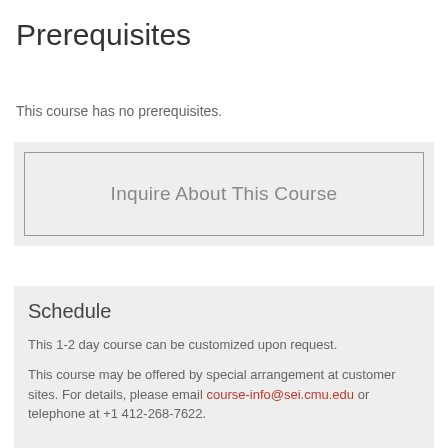Prerequisites
This course has no prerequisites.
[Figure (other): Button/link box with text 'Inquire About This Course']
Schedule
This 1-2 day course can be customized upon request.
This course may be offered by special arrangement at customer sites. For details, please email course-info@sei.cmu.edu or telephone at +1 412-268-7622.